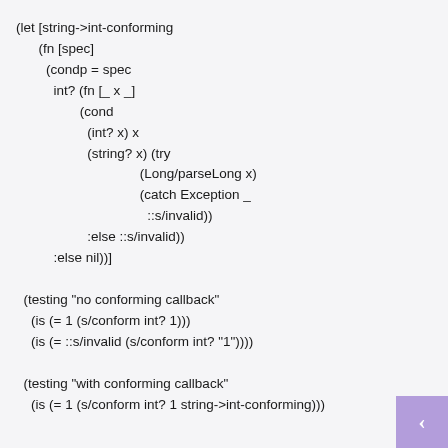(let [string->int-conforming
      (fn [spec]
        (condp = spec
          int? (fn [_ x _]
                 (cond
                   (int? x) x
                   (string? x) (try
                                 (Long/parseLong x)
                                 (catch Exception _
                                   ::s/invalid))
                   :else ::s/invalid))
          :else nil))]

  (testing "no conforming callback"
    (is (= 1 (s/conform int? 1)))
    (is (= ::s/invalid (s/conform int? "1"))))

  (testing "with conforming callback"
    (is (= 1 (s/conform int? 1 string->int-conforming)))